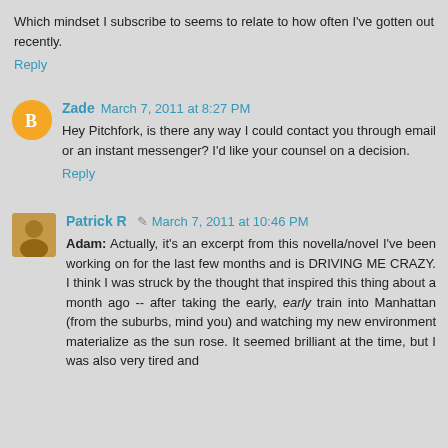Which mindset I subscribe to seems to relate to how often I've gotten out recently.
Reply
Zade  March 7, 2011 at 8:27 PM
Hey Pitchfork, is there any way I could contact you through email or an instant messenger? I'd like your counsel on a decision.
Reply
Patrick R  March 7, 2011 at 10:46 PM
Adam: Actually, it's an excerpt from this novella/novel I've been working on for the last few months and is DRIVING ME CRAZY. I think I was struck by the thought that inspired this thing about a month ago -- after taking the early, early train into Manhattan (from the suburbs, mind you) and watching my new environment materialize as the sun rose. It seemed brilliant at the time, but I was also very tired and